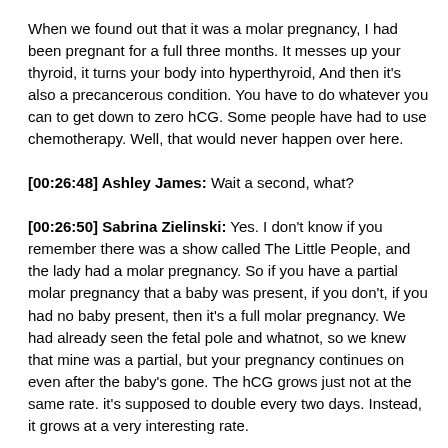When we found out that it was a molar pregnancy, I had been pregnant for a full three months. It messes up your thyroid, it turns your body into hyperthyroid, And then it's also a precancerous condition. You have to do whatever you can to get down to zero hCG. Some people have had to use chemotherapy. Well, that would never happen over here.
[00:26:48] Ashley James: Wait a second, what?
[00:26:50] Sabrina Zielinski: Yes. I don't know if you remember there was a show called The Little People, and the lady had a molar pregnancy. So if you have a partial molar pregnancy that a baby was present, if you don't, if you had no baby present, then it's a full molar pregnancy. We had already seen the fetal pole and whatnot, so we knew that mine was a partial, but your pregnancy continues on even after the baby's gone. The hCG grows just not at the same rate. it's supposed to double every two days. Instead, it grows at a very interesting rate.
It's giant masses of cysts in there. They told me it would probably be a year before my hCG would go to zero. But it was only six weeks doing this the natural way, believe it or not. But you have to balance your thyroid, I had to balance my hormones, and I also had to balance the emotions and all of the other stuff because, obviously, it was a loss as well. You're just getting done